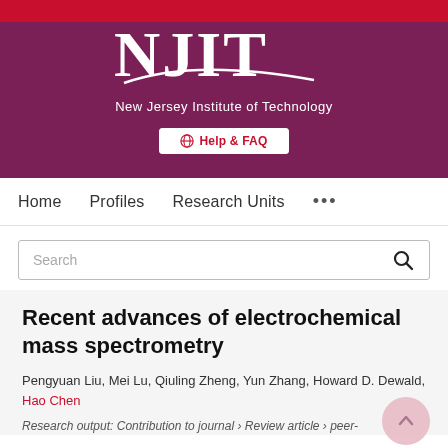[Figure (logo): NJIT New Jersey Institute of Technology logo with white text on purple/red gradient background, with Help & FAQ button]
Home   Profiles   Research Units   ...
Search
Recent advances of electrochemical mass spectrometry
Pengyuan Liu, Mei Lu, Qiuling Zheng, Yun Zhang, Howard D. Dewald, Hao Chen
Research output: Contribution to journal › Review article › peer-